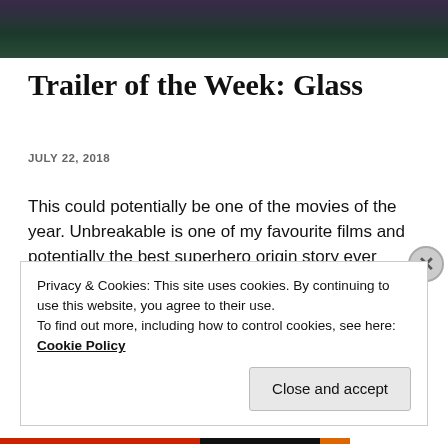[Figure (photo): Partial view of a dark-toned movie image, cropped at the top of the page]
Trailer of the Week: Glass
JULY 22, 2018
This could potentially be one of the movies of the year. Unbreakable is one of my favourite films and potentially the best superhero origin story ever while Split won the Views from the Sofa award for movie of 2016. Glass brings . . . Continue reading
Privacy & Cookies: This site uses cookies. By continuing to use this website, you agree to their use. To find out more, including how to control cookies, see here: Cookie Policy
Close and accept